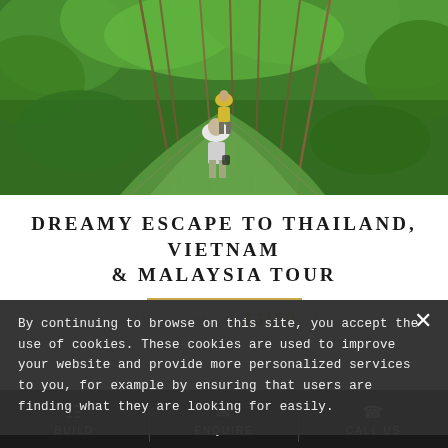[Figure (photo): Two people walking across a green rope suspension bridge through dense tropical jungle canopy]
DREAMY ESCAPE TO THAILAND, VIETNAM & MALAYSIA TOUR
41 DAYS FROM $3150 PP
By continuing to browse on this site, you accept the use of cookies. These cookies are used to improve your website and provide more personalized services to you, for example by ensuring that users are finding what they are looking for easily.
BUILD  ENQUIRE  CALL US